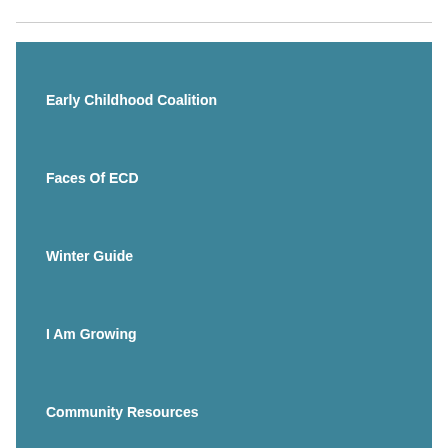Early Childhood Coalition
Faces Of ECD
Winter Guide
I Am Growing
Community Resources
Early Childhood Development Library
Projects
Early Years Reading Challenge
Facebook